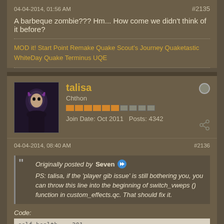04-04-2014, 01:56 AM
#2135
A barbeque zombie??? Hm... How come we didn't think of it before?
MOD it! Start Point Remake Quake Scout's Journey Quaketastic WhiteDay Quake Terminus UQE
talisa
Chthon
Join Date: Oct 2011   Posts: 4342
04-04-2014, 08:40 AM
#2136
Originally posted by Seven
PS: talisa, if the 'player gib issue' is still bothering you, you can throw this line into the beginning of switch_vweps () function in custom_effects.qc. That should fix it.
Code:
self.health = -301